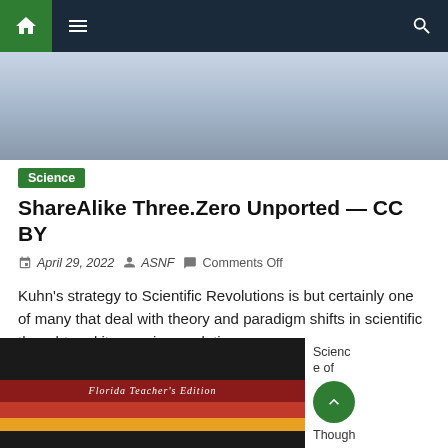Navigation bar with home, menu, and search icons
[Figure (photo): Hero image showing a person in uniform, partially cropped]
Science
ShareAlike Three.Zero Unported — CC BY
April 29, 2022  ASNF  Comments Off
Kuhn's strategy to Scientific Revolutions is but certainly one of many that deal with theory and paradigm shifts in scientific thought and its ensuing evolution.
16 artificial intelligence pros and cons
[Figure (photo): Photo of a Florida Teacher's Edition textbook with red and yellow cover]
Science of Though